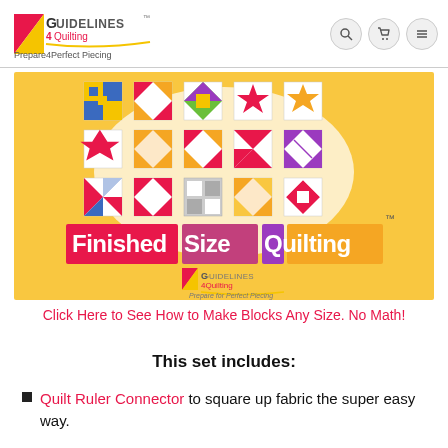Guidelines 4 Quilting — Prepare4Perfect Piecing
[Figure (photo): Finished Size Quilting product image showing colorful quilt blocks arranged in a grid on a yellow/white background, with the text 'Finished Size Quilting' in colored boxes and the Guidelines 4 Quilting logo below.]
Click Here to See How to Make Blocks Any Size. No Math!
This set includes:
Quilt Ruler Connector to square up fabric the super easy way.